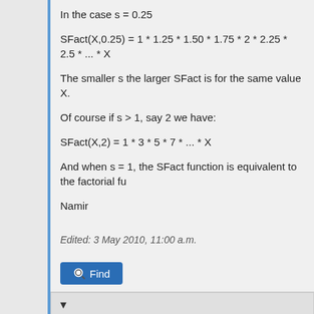In the case s = 0.25
SFact(X,0.25) = 1 * 1.25 * 1.50 * 1.75 * 2 * 2.25 * 2.5 * ... * X
The smaller s the larger SFact is for the same value X.
Of course if s > 1, say 2 we have:
SFact(X,2) = 1 * 3 * 5 * 7 * ... * X
And when s = 1, the SFact function is equivalent to the factorial fu...
Namir
Edited: 3 May 2010, 11:00 a.m.
Find
▼
Gerson W. Barbosa
Posting Freak
05-03-2010, 06:39 PM